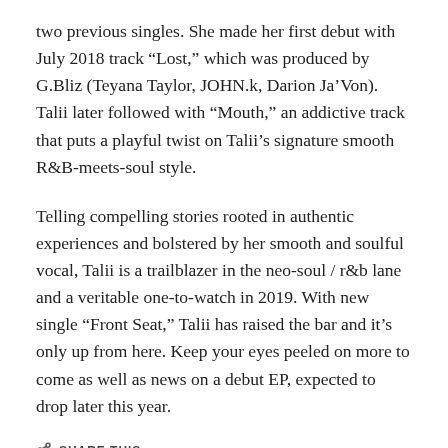two previous singles. She made her first debut with July 2018 track “Lost,” which was produced by G.Bliz (Teyana Taylor, JOHN.k, Darion Ja’Von). Talii later followed with “Mouth,” an addictive track that puts a playful twist on Talii’s signature smooth R&B-meets-soul style.
Telling compelling stories rooted in authentic experiences and bolstered by her smooth and soulful vocal, Talii is a trailblazer in the neo-soul / r&b lane and a veritable one-to-watch in 2019. With new single “Front Seat,” Talii has raised the bar and it’s only up from here. Keep your eyes peeled on more to come as well as news on a debut EP, expected to drop later this year.
SHARE THIS:
Twitter   Facebook
LIKE THIS: